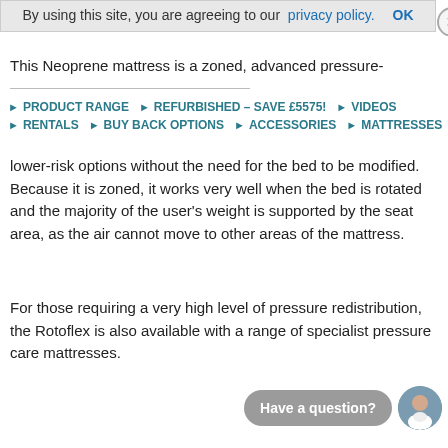By using this site, you are agreeing to our privacy policy. OK
This Neoprene mattress is a zoned, advanced pressure-
PRODUCT RANGE
REFURBISHED – SAVE £5575!
VIDEOS
RENTALS
BUY BACK OPTIONS
ACCESSORIES
MATTRESSES
lower-risk options without the need for the bed to be modified. Because it is zoned, it works very well when the bed is rotated and the majority of the user's weight is supported by the seat area, as the air cannot move to other areas of the mattress.
For those requiring a very high level of pressure redistribution, the Rotoflex is also available with a range of specialist pressure care mattresses.